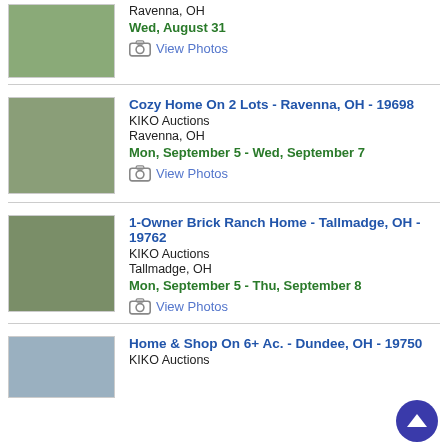[Figure (photo): Partial thumbnail of a property in Ravenna, OH]
Ravenna, OH
Wed, August 31
View Photos
Cozy Home On 2 Lots - Ravenna, OH - 19698 | KIKO Auctions | Ravenna, OH | Mon, September 5 - Wed, September 7
[Figure (photo): Thumbnail photo of Cozy Home On 2 Lots in Ravenna, OH]
View Photos
1-Owner Brick Ranch Home - Tallmadge, OH - 19762 | KIKO Auctions | Tallmadge, OH | Mon, September 5 - Thu, September 8
[Figure (photo): Thumbnail photo of 1-Owner Brick Ranch Home in Tallmadge, OH]
View Photos
Home & Shop On 6+ Ac. - Dundee, OH - 19750 | KIKO Auctions
[Figure (photo): Partial thumbnail of Home & Shop property in Dundee, OH]